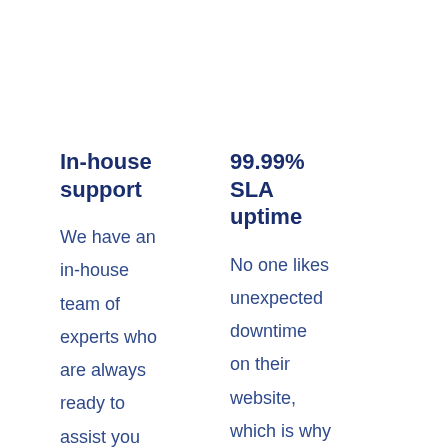In-house support
We have an in-house team of experts who are always ready to assist you
99.99% SLA uptime
No one likes unexpected downtime on their website, which is why Drenals